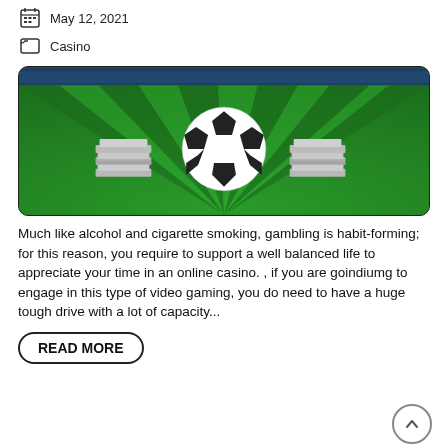May 12, 2021
Casino
[Figure (photo): Soccer ball on a green striped field with stacks of money on each side, stadium in background]
Much like alcohol and cigarette smoking, gambling is habit-forming; for this reason, you require to support a well balanced life to appreciate your time in an online casino. , if you are goindiumg to engage in this type of video gaming, you do need to have a huge tough drive with a lot of capacity...
READ MORE